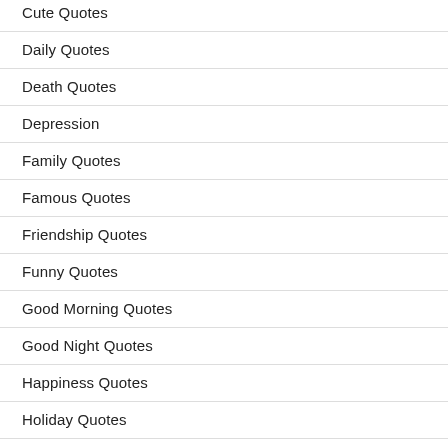Cute Quotes
Daily Quotes
Death Quotes
Depression
Family Quotes
Famous Quotes
Friendship Quotes
Funny Quotes
Good Morning Quotes
Good Night Quotes
Happiness Quotes
Holiday Quotes
Inspirational Quotes
Life Quotes